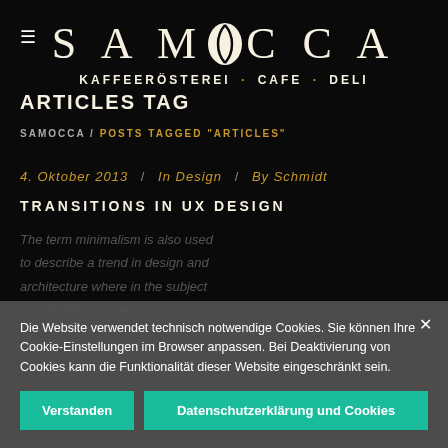SAMOCCA — KAFFEERÖSTEREI · CAFE · DELI
ARTICLES TAG
SAMOCCA / POSTS TAGGED "ARTICLES"
4. Oktober 2013 / In Design / By Schmidt
TRANSITIONS IN UX DESIGN
The term minimalism is also used to describe a trend in design and architecture where in the subject is reduced to its necessary elements. Minimalist design has
Die Website verwendet technisch notwendige Cookies. Sie können Ihre Cookie-Einstellungen im Browser anpassen. Bei Deaktivierung von Cookies kann die Funktionalität dieser Website eingeschränkt sein.